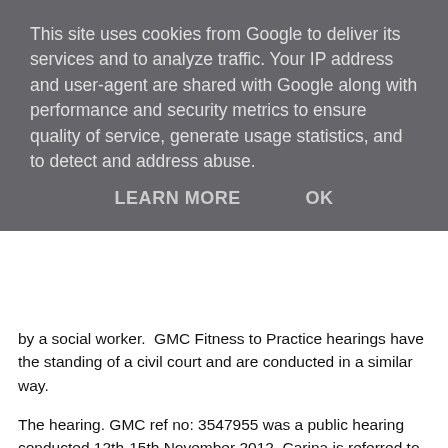This site uses cookies from Google to deliver its services and to analyze traffic. Your IP address and user-agent are shared with Google along with performance and security metrics to ensure quality of service, generate usage statistics, and to detect and address abuse.
LEARN MORE   OK
by a social worker.  GMC Fitness to Practice hearings have the standing of a civil court and are conducted in a similar way.
The hearing. GMC ref no: 3547955 was a public hearing conducted 12th-15th November 2012. Carina is referred to as CB in the records, which her parents have allowed me to access. There was press coverage at the time.
[Figure (photo): Photograph of a large classical stone building facade with columns, ornate architectural details, and multiple floors of windows. Appears to be a civic or legal building in an urban setting.]